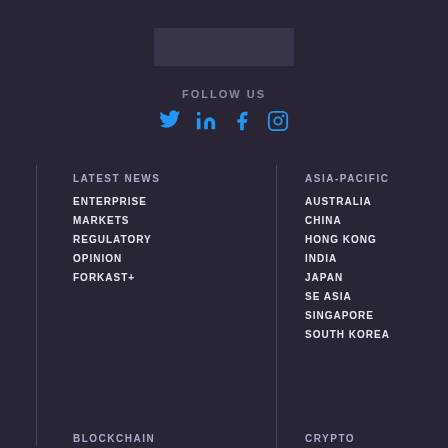[Figure (logo): Forkast logo placeholder box]
FOLLOW US
[Figure (infographic): Social media icons: Twitter, LinkedIn, Facebook, Instagram in blue]
LATEST NEWS
ENTERPRISE
MARKETS
REGULATORY
OPINION
FORKAST+
ASIA-PACIFIC
AUSTRALIA
CHINA
HONG KONG
INDIA
JAPAN
SE ASIA
SINGAPORE
SOUTH KOREA
BLOCKCHAIN
CRYPTO